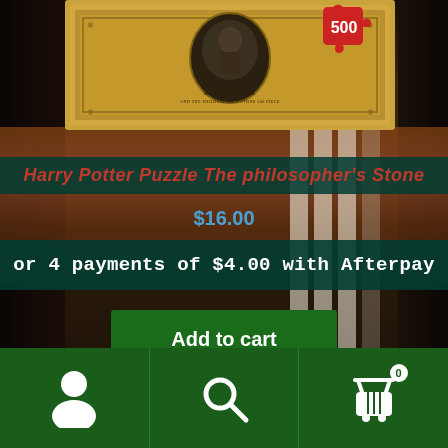[Figure (photo): Harry Potter Philosopher's Stone 500-piece puzzle box shown on a wooden table with dark curtain background. The box has a gold/ornate design with a portrait in the center and a red puzzle piece badge showing '500' in the top right corner.]
Harry Potter Puzzle The philosopher's Stone
$16.00
or 4 payments of $4.00 with Afterpay
Add to cart
Navigation bar with user account icon, search icon, and cart icon (0 items)